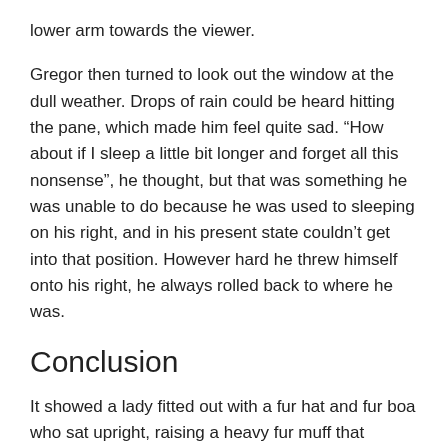lower arm towards the viewer.
Gregor then turned to look out the window at the dull weather. Drops of rain could be heard hitting the pane, which made him feel quite sad. “How about if I sleep a little bit longer and forget all this nonsense”, he thought, but that was something he was unable to do because he was used to sleeping on his right, and in his present state couldn’t get into that position. However hard he threw himself onto his right, he always rolled back to where he was.
Conclusion
It showed a lady fitted out with a fur hat and fur boa who sat upright, raising a heavy fur muff that covered the whole of her lower arm towards the viewer. Gregor then turned to look out the window at the dull weather. Drops of rain could be heard hitting the pane, which made him feel quite sad.